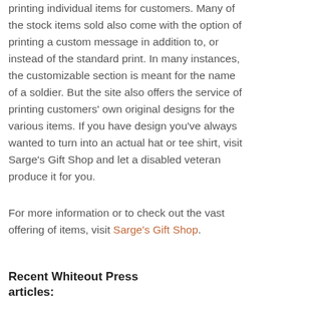printing individual items for customers. Many of the stock items sold also come with the option of printing a custom message in addition to, or instead of the standard print. In many instances, the customizable section is meant for the name of a soldier. But the site also offers the service of printing customers' own original designs for the various items. If you have design you've always wanted to turn into an actual hat or tee shirt, visit Sarge's Gift Shop and let a disabled veteran produce it for you.
For more information or to check out the vast offering of items, visit Sarge's Gift Shop.
Recent Whiteout Press articles: